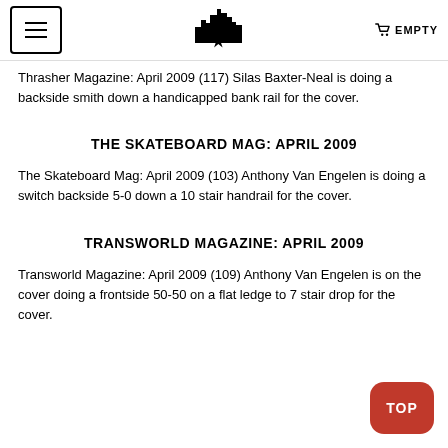EMPTY
Thrasher Magazine: April 2009 (117) Silas Baxter-Neal is doing a backside smith down a handicapped bank rail for the cover.
THE SKATEBOARD MAG: APRIL 2009
The Skateboard Mag: April 2009 (103) Anthony Van Engelen is doing a switch backside 5-0 down a 10 stair handrail for the cover.
TRANSWORLD MAGAZINE: APRIL 2009
Transworld Magazine: April 2009 (109) Anthony Van Engelen is on the cover doing a frontside 50-50 on a flat ledge to 7 stair drop for the cover.